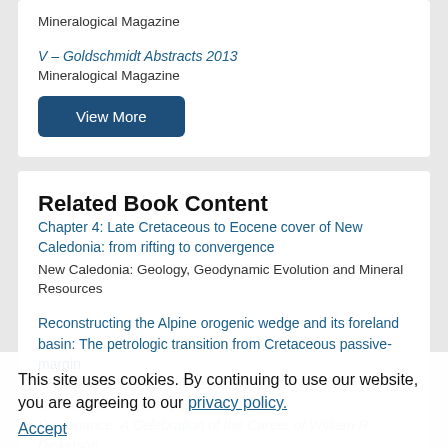Mineralogical Magazine
V – Goldschmidt Abstracts 2013
Mineralogical Magazine
View More
Related Book Content
Chapter 4: Late Cretaceous to Eocene cover of New Caledonia: from rifting to convergence
New Caledonia: Geology, Geodynamic Evolution and Mineral Resources
Reconstructing the Alpine orogenic wedge and its foreland basin: The petrologic transition from Cretaceous passive-margin to Eocene foreland sedimentation in Tectonic, Sedimentary Basins and Provenance: A Celebration of the Career of William R. Dickinson
This site uses cookies. By continuing to use our website, you are agreeing to our privacy policy.
Accept